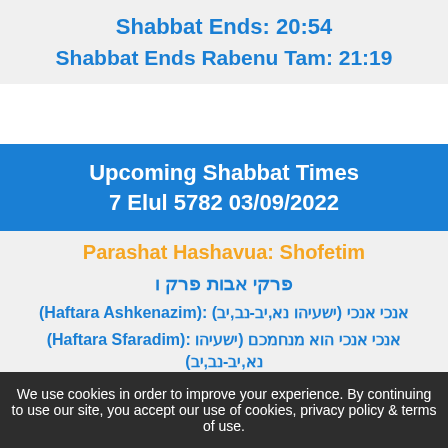Shabbat Ends: 20:54
Shabbat Ends Rabenu Tam: 21:19
Upcoming Shabbat Times
7 Elul 5782 03/09/2022
Parashat Hashavua: Shofetim
פרקי אבות פרק ו
אנכי אנכי (ישעיהו נא,יב-נב,יב) :(Haftara Ashkenazim)
אנכי אנכי הוא מנחמכם (ישעיהו :(Haftara Sfaradim)
נא,יב-נב,יב)
Candle Lighting: 18:55
We use cookies in order to improve your experience. By continuing to use our site, you accept our use of cookies, privacy policy & terms of use.